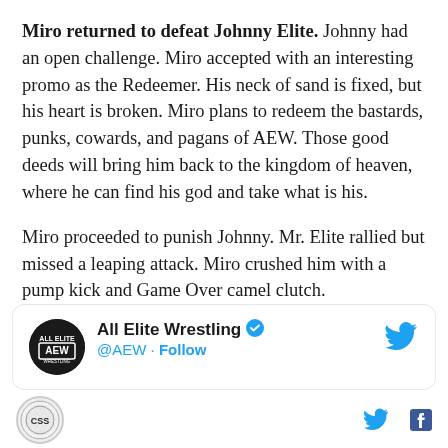Miro returned to defeat Johnny Elite. Johnny had an open challenge. Miro accepted with an interesting promo as the Redeemer. His neck of sand is fixed, but his heart is broken. Miro plans to redeem the bastards, punks, cowards, and pagans of AEW. Those good deeds will bring him back to the kingdom of heaven, where he can find his god and take what is his.
Miro proceeded to punish Johnny. Mr. Elite rallied but missed a leaping attack. Miro crushed him with a pump kick and Game Over camel clutch.
[Figure (screenshot): Tweet card from All Elite Wrestling (@AEW) with verified badge and Follow link, showing the AEW logo and Twitter bird icon]